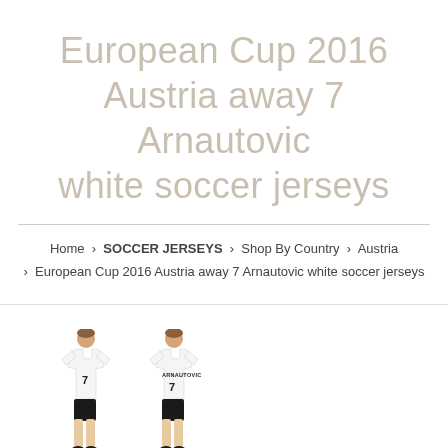European Cup 2016 Austria away 7 Arnautovic white soccer jerseys
Home › SOCCER JERSEYS › Shop By Country › Austria › European Cup 2016 Austria away 7 Arnautovic white soccer jerseys
[Figure (photo): Two mannequins wearing white Austria away soccer jerseys with number 7 and Arnautovic name, black shorts]